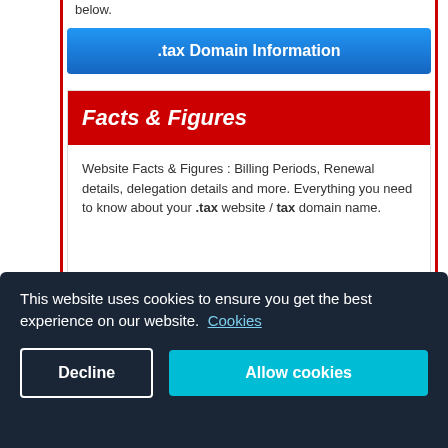below.
.tax Domain Information
Facts & Figures
Website Facts & Figures : Billing Periods, Renewal details, delegation details and more. Everything you need to know about your .tax website / tax domain name.
.tax Domain Facts
This website uses cookies to ensure you get the best experience on our website. Cookies
Decline
Allow cookies
into nominate to be renewed if necessary.